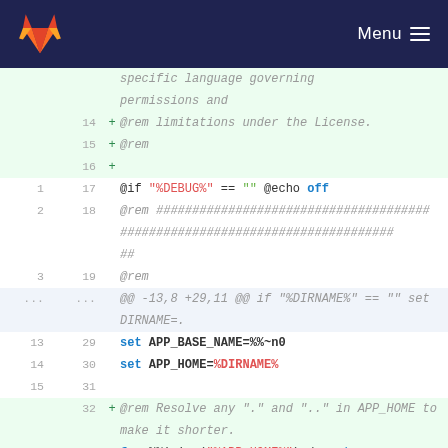GitLab Menu
Code diff showing lines 14-33 of a batch file with additions and context lines including @rem comments, @if, set APP_BASE_NAME, set APP_HOME, and for loop commands.